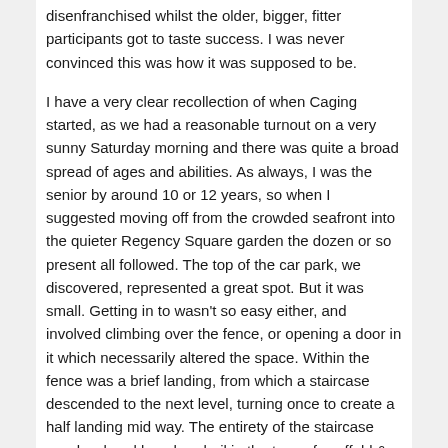disenfranchised whilst the older, bigger, fitter participants got to taste success. I was never convinced this was how it was supposed to be.
I have a very clear recollection of when Caging started, as we had a reasonable turnout on a very sunny Saturday morning and there was quite a broad spread of ages and abilities. As always, I was the senior by around 10 or 12 years, so when I suggested moving off from the crowded seafront into the quieter Regency Square garden the dozen or so present all followed. The top of the car park, we discovered, represented a great spot. But it was small. Getting in to wasn't so easy either, and involved climbing over the fence, or opening a door in it which necessarily altered the space. Within the fence was a brief landing, from which a staircase descended to the next level, turning once to create a half landing mid way. The entirety of the staircase was bordered by a handrail in the type of scaffold & KeeKlamp that is now so very familiar to me since our UPG sets are constructed from it. I could see a load of great movement possibilities, but also some real